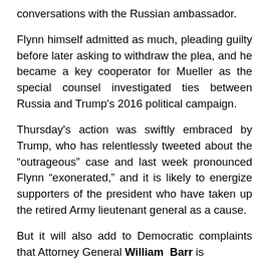conversations with the Russian ambassador.
Flynn himself admitted as much, pleading guilty before later asking to withdraw the plea, and he became a key cooperator for Mueller as the special counsel investigated ties between Russia and Trump's 2016 political campaign.
Thursday's action was swiftly embraced by Trump, who has relentlessly tweeted about the “outrageous” case and last week pronounced Flynn “exonerated,” and it is likely to energize supporters of the president who have taken up the retired Army lieutenant general as a cause.
But it will also add to Democratic complaints that Attorney General William Barr is